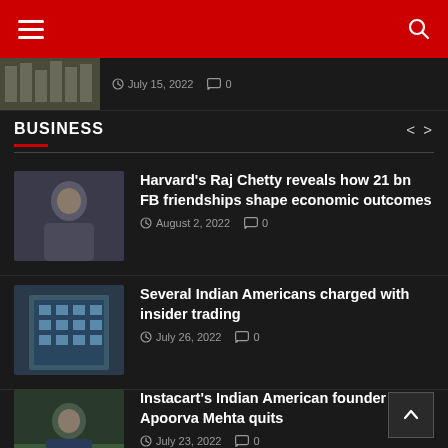Navigation header with hamburger menu and search icon
July 15, 2022  0
BUSINESS
Harvard's Raj Chetty reveals how 21 bn FB friendships shape economic outcomes  August 2, 2022  0
Several Indian Americans charged with insider trading  July 26, 2022  0
Instacart's Indian American founder Apoorva Mehta quits  July 23, 2022  0